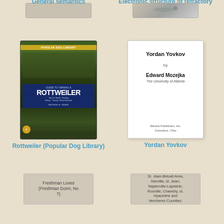[Figure (illustration): Book cover thumbnail for General semantics (partial, top cropped)]
General semantics
[Figure (illustration): Book cover thumbnail for Electronic structure of refractory carbides and nitrides (partial, top cropped, shows a bird or eagle illustration)]
Electronic structure of refractory carbides and nitrides
[Figure (photo): Book cover: Guide to Owning a Rottweiler (Popular Dog Library) by George H. Drain. Shows multiple rottweiler dogs on a colorful cover with blue title box.]
Rottweiler (Popular Dog Library)
[Figure (illustration): Book cover: Yordan Yovkov by Edward Mozejka, The University of Alberta. Slavica Publishers, Inc., Columbus, Ohio. White cover with text only.]
Yordan Yovkov
[Figure (illustration): Book cover placeholder for Freshman Loves (Freshman Dorm, No 7) with gray background and text]
[Figure (illustration): Book cover placeholder for St. Jean-Beloeil Area, Iberville, st. Jean, Napierville-Laprairie, Rouville, Chambly, st. Hyacinthe and Vercheres Counties.]